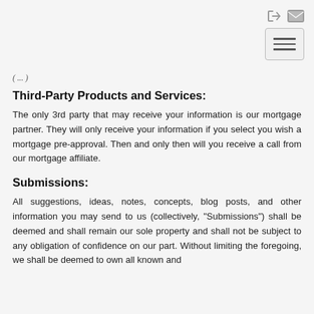[navigation icons and hamburger menu]
( ... )
Third-Party Products and Services:
The only 3rd party that may receive your information is our mortgage partner. They will only receive your information if you select you wish a mortgage pre-approval. Then and only then will you receive a call from our mortgage affiliate.
Submissions:
All suggestions, ideas, notes, concepts, blog posts, and other information you may send to us (collectively, "Submissions") shall be deemed and shall remain our sole property and shall not be subject to any obligation of confidence on our part. Without limiting the foregoing, we shall be deemed to own all known and